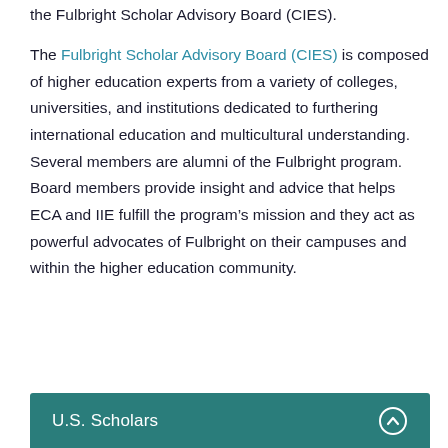the Fulbright Scholar Advisory Board (CIES).
The Fulbright Scholar Advisory Board (CIES) is composed of higher education experts from a variety of colleges, universities, and institutions dedicated to furthering international education and multicultural understanding.  Several members are alumni of the Fulbright program. Board members provide insight and advice that helps ECA and IIE fulfill the program's mission and they act as powerful advocates of Fulbright on their campuses and within the higher education community.
U.S. Scholars